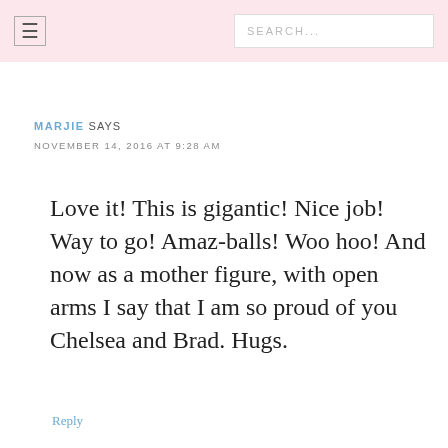≡  SEARCH...
MARJIE SAYS
NOVEMBER 14, 2016 AT 9:28 AM
Love it! This is gigantic! Nice job! Way to go! Amaz-balls! Woo hoo! And now as a mother figure, with open arms I say that I am so proud of you Chelsea and Brad. Hugs.
Reply